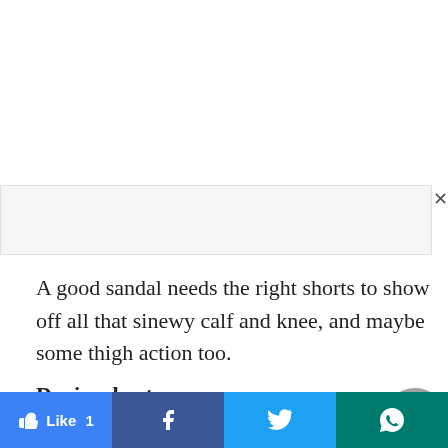[Figure (other): Ad banner placeholder bar with close button (×)]
A good sandal needs the right shorts to show off all that sinewy calf and knee, and maybe some thigh action too.
Denim shorts:
I am never entirely comfortable with denim shorts because few brands view them as something more
[Figure (other): Scroll-to-top circular grey button with upward triangle arrow]
Like 1  |  f  |  Twitter bird  |  WhatsApp icon